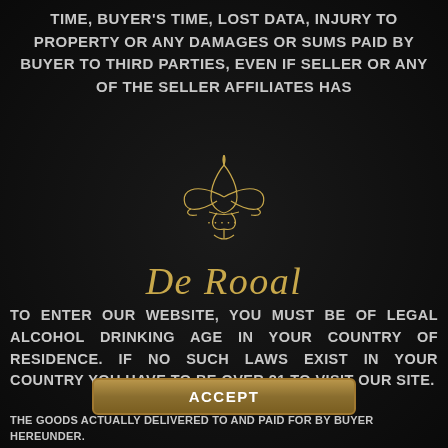TIME, BUYER'S TIME, LOST DATA, INJURY TO PROPERTY OR ANY DAMAGES OR SUMS PAID BY BUYER TO THIRD PARTIES, EVEN IF SELLER OR ANY OF THE SELLER AFFILIATES HAS
[Figure (logo): De Rooal fleur-de-lis logo with ornate golden fleur de lis symbol above italic script text reading 'De Rooal' and decorative dots]
TO ENTER OUR WEBSITE, YOU MUST BE OF LEGAL ALCOHOL DRINKING AGE IN YOUR COUNTRY OF RESIDENCE. IF NO SUCH LAWS EXIST IN YOUR COUNTRY YOU HAVE TO BE OVER 21 TO VISIT OUR SITE.
ACCEPT
THE GOODS ACTUALLY DELIVERED TO AND PAID FOR BY BUYER HEREUNDER.
SELLER DISCLAIMS ANY WARRANTIES OF NON-